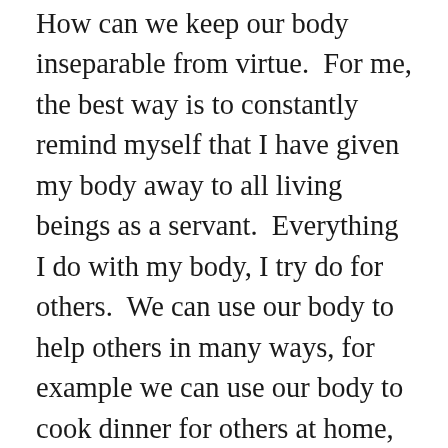How can we keep our body inseparable from virtue.  For me, the best way is to constantly remind myself that I have given my body away to all living beings as a servant.  Everything I do with my body, I try do for others.  We can use our body to help others in many ways, for example we can use our body to cook dinner for others at home, do our jobs at work, or even type something nice on a computer.  We do not have to actually help people with our body to keep in inseparable from virtue, it suffices to not harm any living thing with it.  For example, we can be careful to avoid stepping on insects or drive carefully in a car.  The best way we can keep our body inseparable from virtue is to view it as our emanation sent into this world to benefit